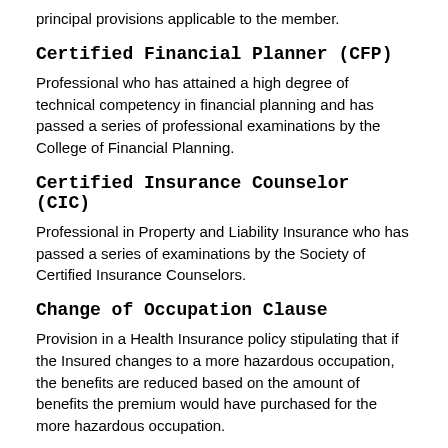principal provisions applicable to the member.
Certified Financial Planner (CFP)
Professional who has attained a high degree of technical competency in financial planning and has passed a series of professional examinations by the College of Financial Planning.
Certified Insurance Counselor (CIC)
Professional in Property and Liability Insurance who has passed a series of examinations by the Society of Certified Insurance Counselors.
Change of Occupation Clause
Provision in a Health Insurance policy stipulating that if the Insured changes to a more hazardous occupation, the benefits are reduced based on the amount of benefits the premium would have purchased for the more hazardous occupation.
Chartered Financial Consultant (ChFC)
An individual who has attained a high degree of technical